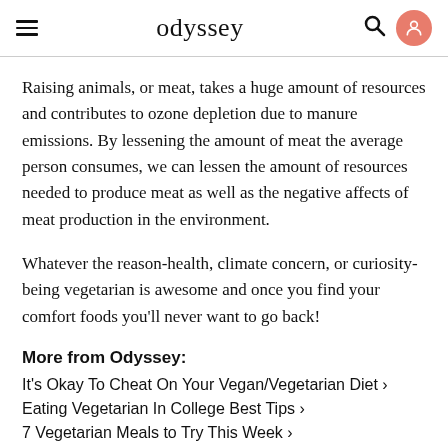odyssey
Raising animals, or meat, takes a huge amount of resources and contributes to ozone depletion due to manure emissions. By lessening the amount of meat the average person consumes, we can lessen the amount of resources needed to produce meat as well as the negative affects of meat production in the environment.
Whatever the reason-health, climate concern, or curiosity-being vegetarian is awesome and once you find your comfort foods you'll never want to go back!
More from Odyssey:
It's Okay To Cheat On Your Vegan/Vegetarian Diet ›
Eating Vegetarian In College Best Tips ›
7 Vegetarian Meals to Try This Week ›